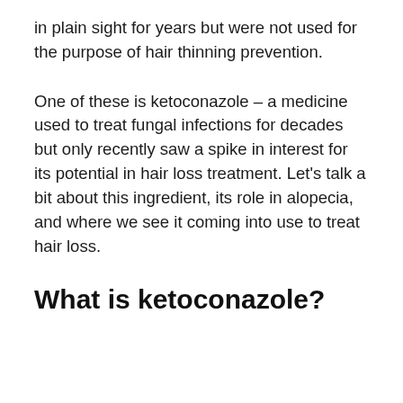in plain sight for years but were not used for the purpose of hair thinning prevention.
One of these is ketoconazole – a medicine used to treat fungal infections for decades but only recently saw a spike in interest for its potential in hair loss treatment. Let's talk a bit about this ingredient, its role in alopecia, and where we see it coming into use to treat hair loss.
What is ketoconazole?